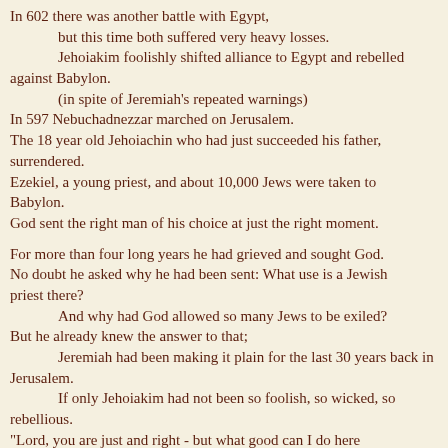In 602 there was another battle with Egypt, but this time both suffered very heavy losses. Jehoiakim foolishly shifted alliance to Egypt and rebelled against Babylon. (in spite of Jeremiah's repeated warnings) In 597 Nebuchadnezzar marched on Jerusalem. The 18 year old Jehoiachin who had just succeeded his father, surrendered. Ezekiel, a young priest, and about 10,000 Jews were taken to Babylon. God sent the right man of his choice at just the right moment.
For more than four long years he had grieved and sought God. No doubt he asked why he had been sent: What use is a Jewish priest there? And why had God allowed so many Jews to be exiled? But he already knew the answer to that; Jeremiah had been making it plain for the last 30 years back in Jerusalem. If only Jehoiakim had not been so foolish, so wicked, so rebellious. "Lord, you are just and right - but what good can I do here in a Babylonian slave camp, making endless bricks, day after day?" The exiles were not in a riverside holiday camp.